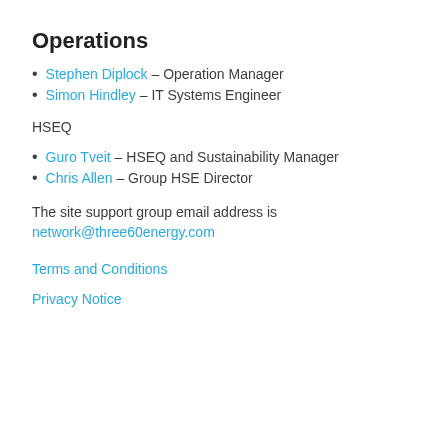Operations
Stephen Diplock – Operation Manager
Simon Hindley – IT Systems Engineer
HSEQ
Guro Tveit – HSEQ and Sustainability Manager
Chris Allen – Group HSE Director
The site support group email address is network@three60energy.com
Terms and Conditions
Privacy Notice